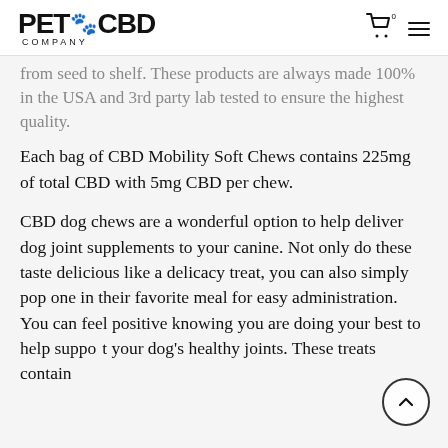PET CBD COMPANY
from seed to shelf. These products are always made 100% in the USA and 3rd party lab tested to ensure the highest quality.
Each bag of CBD Mobility Soft Chews contains 225mg of total CBD with 5mg CBD per chew.
CBD dog chews are a wonderful option to help deliver dog joint supplements to your canine. Not only do these taste delicious like a delicacy treat, you can also simply pop one in their favorite meal for easy administration. You can feel positive knowing you are doing your best to help support your dog's healthy joints. These treats contain